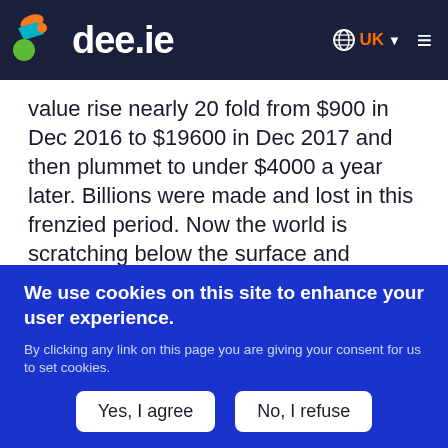dee.ie — UK
value rise nearly 20 fold from $900 in Dec 2016 to $19600 in Dec 2017 and then plummet to under $4000 a year later. Billions were made and lost in this frenzied period. Now the world is scratching below the surface and looking at the underlying technology – Blockchain – and the potential it has across industries.
Though we have done posts about blockchain and
We use cookies on this site to enhance your user experience.
By clicking any link on this page you are giving your consent for us to set cookies.